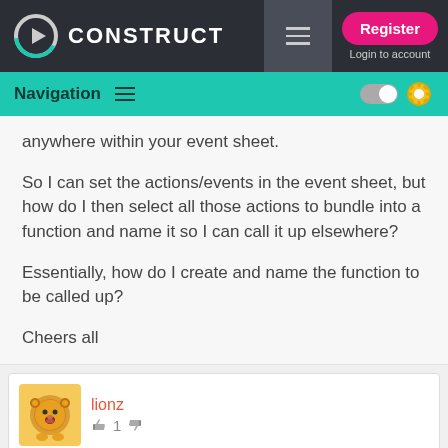CONSTRUCT — Register / Login to account / Navigation
anywhere within your event sheet.
So I can set the actions/events in the event sheet, but how do I then select all those actions to bundle into a function and name it so I can call it up elsewhere?
Essentially, how do I create and name the function to be called up?
Cheers all
lionz — 1 vote